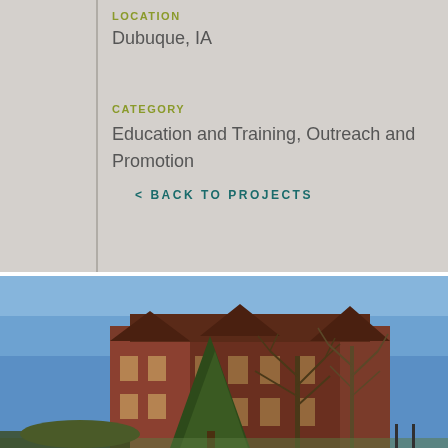LOCATION
Dubuque, IA
CATEGORY
Education and Training, Outreach and Promotion
< BACK TO PROJECTS
[Figure (photo): Brick university or institutional building with ivy, trees (bare winter), blue sky background — appears to be a historic academic building in Dubuque, Iowa]